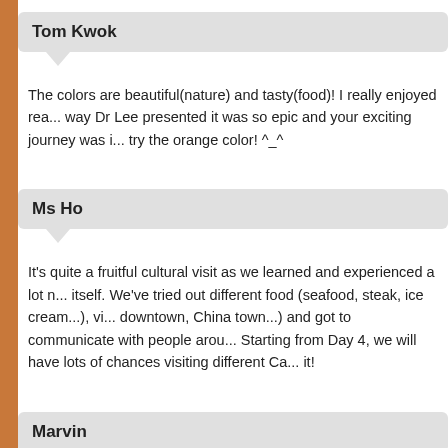Tom Kwok
The colors are beautiful(nature) and tasty(food)! I really enjoyed rea... way Dr Lee presented it was so epic and your exciting journey was i... try the orange color! ^_^
Ms Ho
It's quite a fruitful cultural visit as we learned and experienced a lot n... itself. We've tried out different food (seafood, steak, ice cream...), vi... downtown, China town...) and got to communicate with people arou... Starting from Day 4, we will have lots of chances visiting different Ca... it!
Marvin
I was so amazed when I saw the picture of the sea,because it is bea...